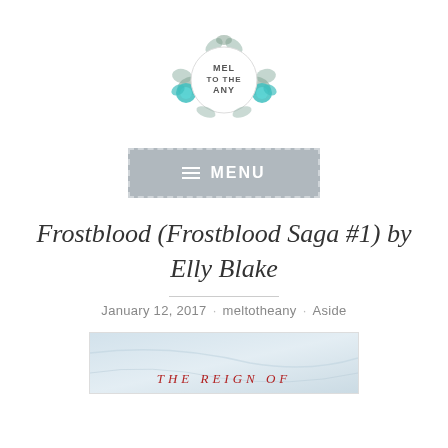[Figure (logo): Circular floral logo with teal/grey flowers and text 'MEL TO THE ANY' in the center]
[Figure (screenshot): Grey rectangular menu button with dashed border, hamburger icon and text MENU]
Frostblood (Frostblood Saga #1) by Elly Blake
January 12, 2017 · meltotheany · Aside
[Figure (photo): Partial book cover image showing 'THE REIGN OF' text at the bottom, with icy/marble background]